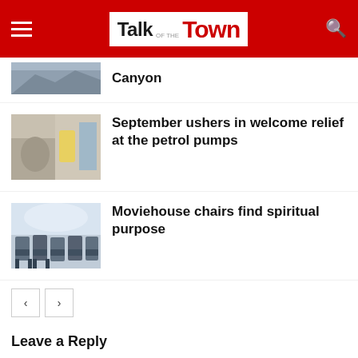Talk of the Town
Canyon
September ushers in welcome relief at the petrol pumps
Moviehouse chairs find spiritual purpose
Leave a Reply
Enter your comment here...